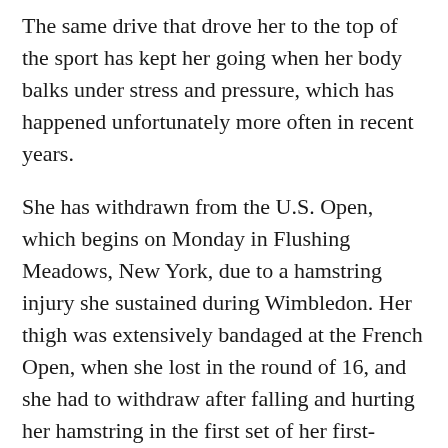The same drive that drove her to the top of the sport has kept her going when her body balks under stress and pressure, which has happened unfortunately more often in recent years.
She has withdrawn from the U.S. Open, which begins on Monday in Flushing Meadows, New York, due to a hamstring injury she sustained during Wimbledon. Her thigh was extensively bandaged at the French Open, when she lost in the round of 16, and she had to withdraw after falling and hurting her hamstring in the first set of her first-round encounter at Wimbledon. For Williams, who turns 40 on Sept. 26, it's become a familiar and frustrating refrain.
In a phone interview, her coach, Patrick Mouratoglou, stated, “It’s been a difficult year since she’s only been able to play the Australian Open out of the four Grand